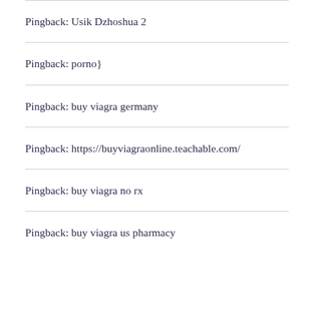Pingback: Usik Dzhoshua 2
Pingback: porno}
Pingback: buy viagra germany
Pingback: https://buyviagraonline.teachable.com/
Pingback: buy viagra no rx
Pingback: buy viagra us pharmacy